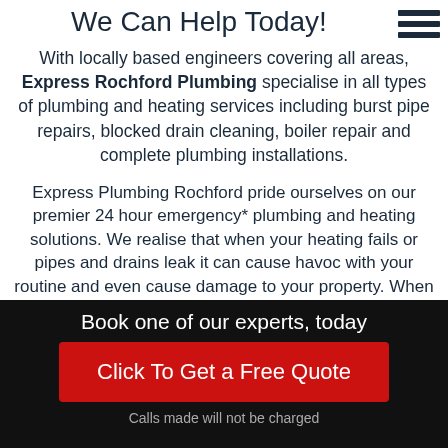We Can Help Today!
With locally based engineers covering all areas, Express Rochford Plumbing specialise in all types of plumbing and heating services including burst pipe repairs, blocked drain cleaning, boiler repair and complete plumbing installations.
Express Plumbing Rochford pride ourselves on our premier 24 hour emergency* plumbing and heating solutions. We realise that when your heating fails or pipes and drains leak it can cause havoc with your routine and even cause damage to your property. When a plumbing problem occurs that requires an immediate response we provide qualified local
Book one of our experts, today
Click To Get a Free Quote
Calls made will not be charged